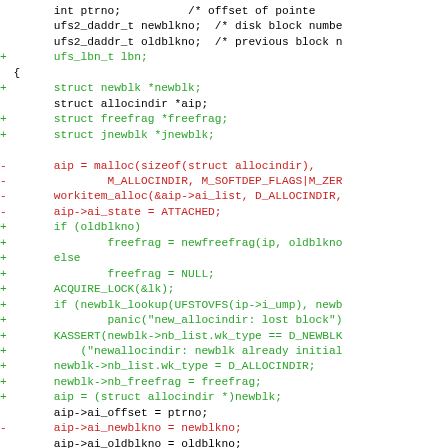[Figure (screenshot): A code diff showing C source code changes. Lines prefixed with '+' are shown in green (additions), lines prefixed with '-' are shown in red (deletions), and unmarked lines are shown in black (context). The code involves struct definitions and function calls related to allocindir, newblk, freefrag, and jnewblk in what appears to be a UFS filesystem implementation.]